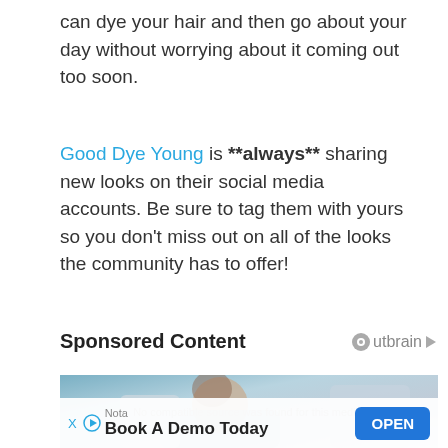can dye your hair and then go about your day without worrying about it coming out too soon.
Good Dye Young is **always** sharing new looks on their social media accounts. Be sure to tag them with yours so you don't miss out on all of the looks the community has to offer!
Sponsored Content
[Figure (photo): Sponsored ad image showing a woman smiling, possibly in a dental or medical setting. Overlaid with 'No compatible source was found for this media.' text. An advertisement overlay at the bottom reads 'Nota / Book A Demo Today' with an OPEN button.]